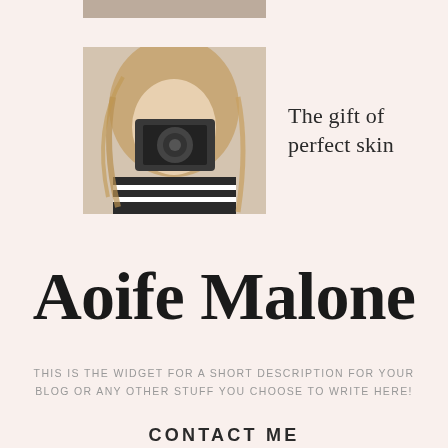[Figure (photo): Partial cropped photo at top — appears to be a small thumbnail image partially visible]
[Figure (photo): Photo of a young blonde woman holding a camera up to her face, wearing a striped top]
The gift of perfect skin
Aoife Malone
THIS IS THE WIDGET FOR A SHORT DESCRIPTION FOR YOUR BLOG OR ANY OTHER STUFF YOU CHOOSE TO WRITE HERE!
CONTACT ME